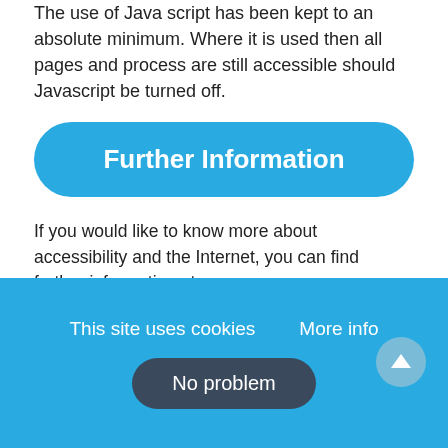The use of Java script has been kept to an absolute minimum. Where it is used then all pages and process are still accessible should Javascript be turned off.
Further Information
If you would like to know more about accessibility and the Internet, you can find further information at www.w3.org/WAI - W3C accessibility guidelines.
If you are unable to view any of our website pages or would like to provide feedback on our sites accessibility please email us.
This site uses cookies   More info
No problem